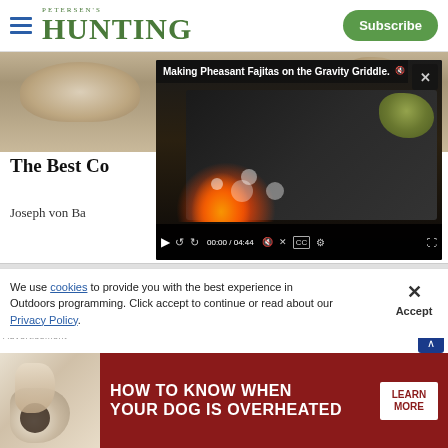PETERSEN'S HUNTING — Subscribe
[Figure (photo): Hero image of hunting scene with animal in grass/brush]
[Figure (screenshot): Video player overlay showing 'Making Pheasant Fajitas on the Gravity Griddle.' with food cooking over fire, controls showing 00:00 / 04:44]
The Best Co
Joseph von Ba
[Figure (photo): Gray content area below article]
We use cookies to provide you with the best experience in Outdoors programming. Click accept to continue or read about our Privacy Policy.
Advertisement
[Figure (photo): Advertisement banner: HOW TO KNOW WHEN YOUR DOG IS OVERHEATED — LEARN MORE, with dog photo on left]